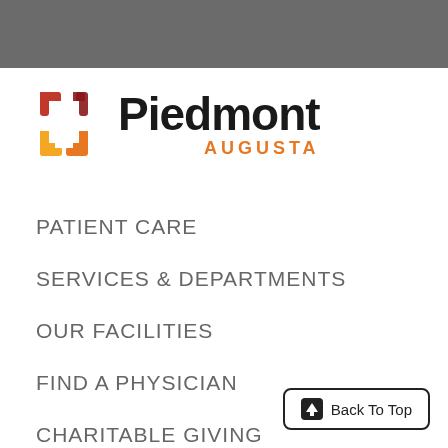[Figure (logo): Piedmont Augusta hospital logo with stylized square bracket icon in red, dark red, orange, and yellow colors, followed by 'Piedmont' in bold black text and 'AUGUSTA' in orange below]
PATIENT CARE
SERVICES & DEPARTMENTS
OUR FACILITIES
FIND A PHYSICIAN
CHARITABLE GIVING
Back To Top